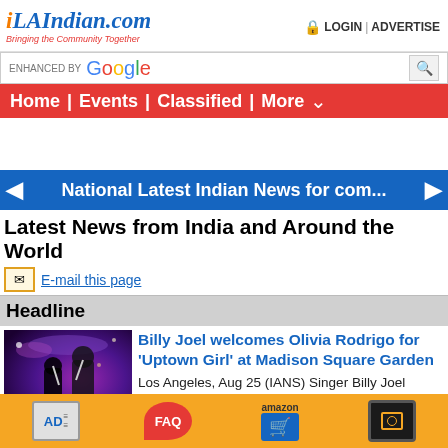iLAIndian.com — Bringing the Community Together | LOGIN | ADVERTISE
[Figure (screenshot): Google search bar with 'ENHANCED BY Google' text and search icon]
Home | Events | Classified | More ▾
[Figure (infographic): National Latest Indian News for com... blue banner with left and right arrows]
Latest News from India and Around the World
E-mail this page
Headline
[Figure (photo): Concert photo showing performers on stage with purple/dark lighting]
Billy Joel welcomes Olivia Rodrigo for 'Uptown Girl' at Madison Square Garden
Los Angeles, Aug 25 (IANS) Singer Billy Joel welcomed surprise guest Olivia Rodrigo during his 82nd consecutive sold-out show at New York's Madison Square Garden for runs through her hit single 'Deja Vu' and his own 1983 smash 'Uptown Girl' released nearly 20
AD | FAQ | amazon | [camera icon]